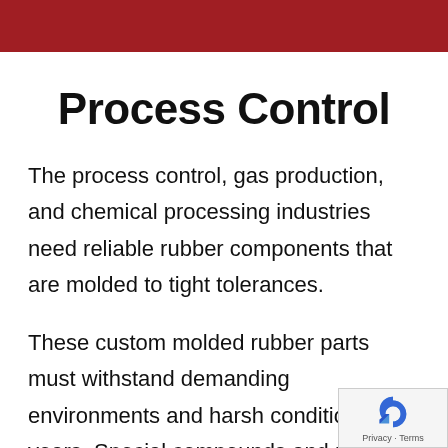Process Control
The process control, gas production, and chemical processing industries need reliable rubber components that are molded to tight tolerances.
These custom molded rubber parts must withstand demanding environments and harsh conditions for years. Special compounds and rubber-to-metal